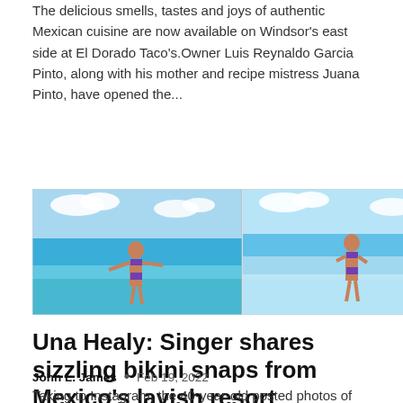The delicious smells, tastes and joys of authentic Mexican cuisine are now available on Windsor's east side at El Dorado Taco's.Owner Luis Reynaldo Garcia Pinto, along with his mother and recipe mistress Juana Pinto, have opened the...
[Figure (photo): Two side-by-side photos of a woman in a purple bikini at a tropical beach/resort setting with turquoise water and blue sky]
Una Healy: Singer shares sizzling bikini snaps from Mexico's lavish resort
John L. James  •  Feb 19, 2022
Taking to Instagram, the 40-year-old posted photos of herself in a